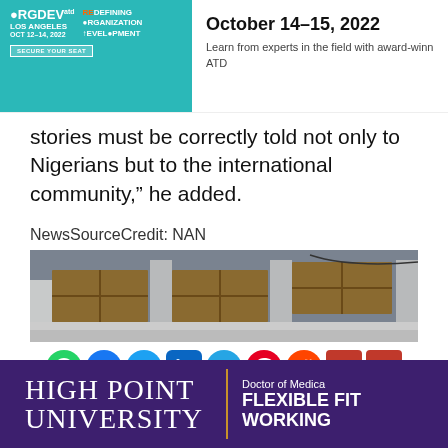[Figure (other): ATD OrgDev advertisement banner — teal left panel with ORGDEV LOS ANGELES OCT 12-14 2022 and REDEFINING ORGANIZATION DEVELOPMENT text; right panel shows October 14–15, 2022 date and partial description text about learning from experts, and ATD logo]
stories must be correctly told not only to Nigerians but to the international community,” he added.
NewsSourceCredit: NAN
[Figure (photo): Photograph of a building exterior with covered/boarded windows, showing grey columns and wooden board coverings on multiple windows]
[Figure (other): Social media sharing icons row: WhatsApp (green), Facebook (blue), Twitter (blue), LinkedIn (blue), Telegram (blue), Pinterest (red), Reddit (orange), Email (red)]
[Figure (other): High Point University advertisement banner — purple background, HPU logo on left, divider, Doctor of Medical text and FLEXIBLE FIT / WORKING text on right]